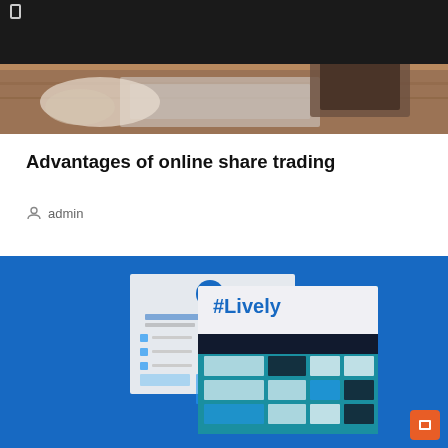[Figure (photo): Top navigation bar with dark background and a small square icon on the left]
[Figure (photo): Hero image showing a person writing/typing at a desk with a keyboard and wooden surface]
Advantages of online share trading
admin
[Figure (screenshot): Blue background section displaying healthcare PowerPoint presentation template slides with #Lively branding, medical and technology themed slide layouts in blue and teal colors]